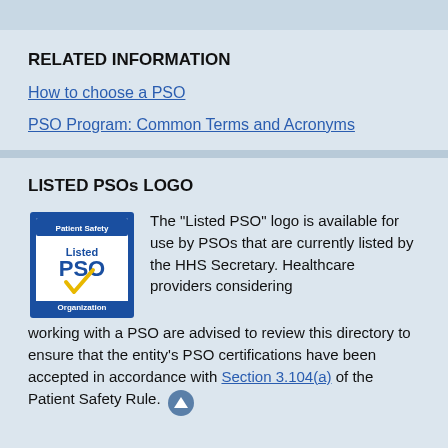RELATED INFORMATION
How to choose a PSO
PSO Program: Common Terms and Acronyms
LISTED PSOs LOGO
[Figure (logo): Listed PSO logo — blue bordered square with 'Patient Safety' at top, 'Listed PSO' text in center with yellow checkmark, 'Organization' at bottom.]
The "Listed PSO" logo is available for use by PSOs that are currently listed by the HHS Secretary. Healthcare providers considering working with a PSO are advised to review this directory to ensure that the entity's PSO certifications have been accepted in accordance with Section 3.104(a) of the Patient Safety Rule.